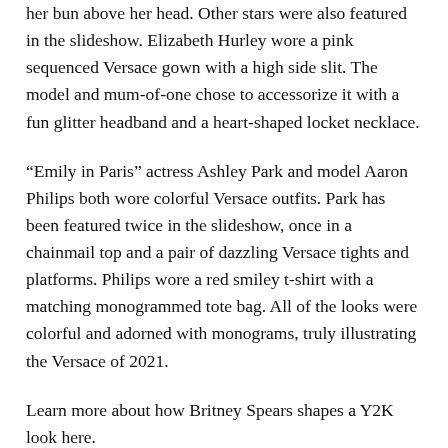her bun above her head. Other stars were also featured in the slideshow. Elizabeth Hurley wore a pink sequenced Versace gown with a high side slit. The model and mum-of-one chose to accessorize it with a fun glitter headband and a heart-shaped locket necklace.
“Emily in Paris” actress Ashley Park and model Aaron Philips both wore colorful Versace outfits. Park has been featured twice in the slideshow, once in a chainmail top and a pair of dazzling Versace tights and platforms. Philips wore a red smiley t-shirt with a matching monogrammed tote bag. All of the looks were colorful and adorned with monograms, truly illustrating the Versace of 2021.
Learn more about how Britney Spears shapes a Y2K look here.
Want to read more articles like this?
Subscribe to FN today
leave a comment